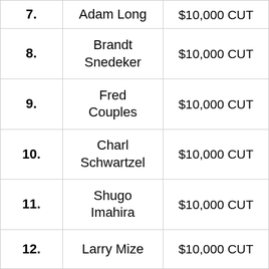| Rank | Player | Prize |
| --- | --- | --- |
| 7. | Adam Long | $10,000 CUT |
| 8. | Brandt Snedeker | $10,000 CUT |
| 9. | Fred Couples | $10,000 CUT |
| 10. | Charl Schwartzel | $10,000 CUT |
| 11. | Shugo Imahira | $10,000 CUT |
| 12. | Larry Mize | $10,000 CUT |